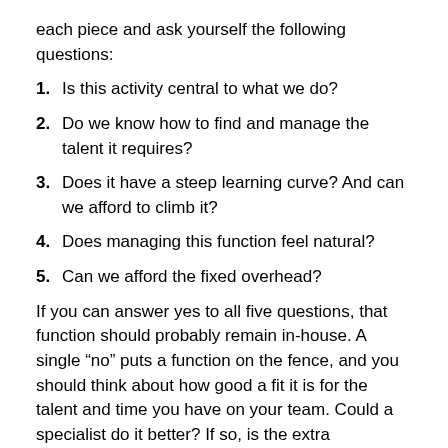each piece and ask yourself the following questions:
1. Is this activity central to what we do?
2. Do we know how to find and manage the talent it requires?
3. Does it have a steep learning curve? And can we afford to climb it?
4. Does managing this function feel natural?
5. Can we afford the fixed overhead?
If you can answer yes to all five questions, that function should probably remain in-house. A single “no” puts a function on the fence, and you should think about how good a fit it is for the talent and time you have on your team. Could a specialist do it better? If so, is the extra